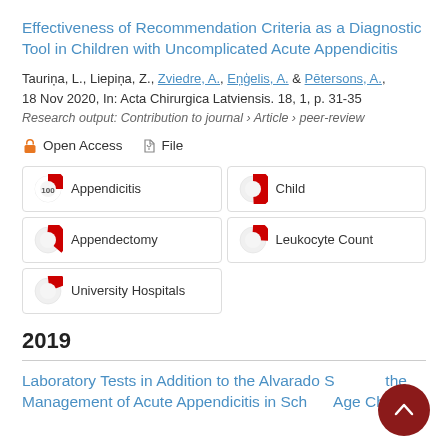Effectiveness of Recommendation Criteria as a Diagnostic Tool in Children with Uncomplicated Acute Appendicitis
Tauriņa, L., Liepiņa, Z., Zviedre, A., Eņģelis, A. & Pētersons, A., 18 Nov 2020, In: Acta Chirurgica Latviensis. 18, 1, p. 31-35
Research output: Contribution to journal › Article › peer-review
Open Access   File
Appendicitis
Child
Appendectomy
Leukocyte Count
University Hospitals
2019
Laboratory Tests in Addition to the Alvarado Score in the Management of Acute Appendicitis in School-Age Children